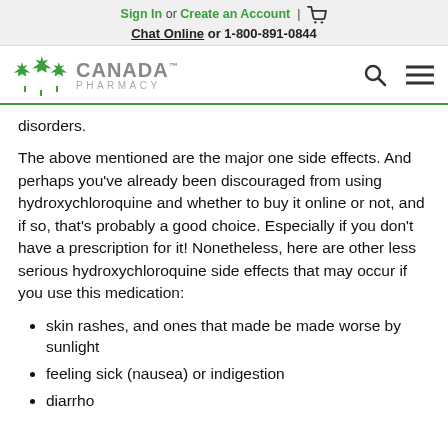Sign In or Create an Account | [cart icon]
Chat Online or 1-800-891-0844
[Figure (logo): Canada Pharmacy logo with maple leaf cluster, search icon, and hamburger menu icon]
disorders.
The above mentioned are the major one side effects. And perhaps you've already been discouraged from using hydroxychloroquine and whether to buy it online or not, and if so, that's probably a good choice. Especially if you don't have a prescription for it! Nonetheless, here are other less serious hydroxychloroquine side effects that may occur if you use this medication:
skin rashes, and ones that made be made worse by sunlight
feeling sick (nausea) or indigestion
diarrho...